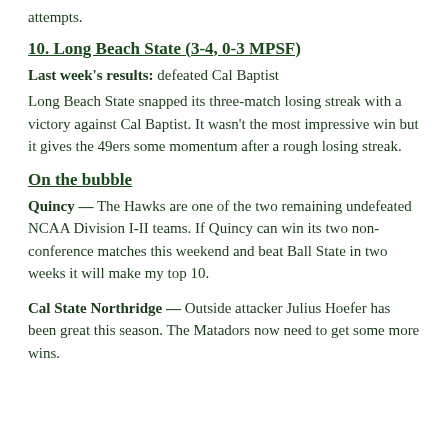attempts.
10. Long Beach State (3-4, 0-3 MPSF)
Last week's results: defeated Cal Baptist
Long Beach State snapped its three-match losing streak with a victory against Cal Baptist. It wasn't the most impressive win but it gives the 49ers some momentum after a rough losing streak.
On the bubble
Quincy — The Hawks are one of the two remaining undefeated NCAA Division I-II teams. If Quincy can win its two non-conference matches this weekend and beat Ball State in two weeks it will make my top 10.
Cal State Northridge — Outside attacker Julius Hoefer has been great this season. The Matadors now need to get some more wins.